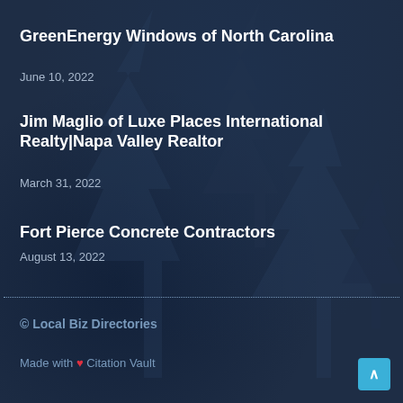GreenEnergy Windows of North Carolina
June 10, 2022
Jim Maglio of Luxe Places International Realty|Napa Valley Realtor
March 31, 2022
Fort Pierce Concrete Contractors
August 13, 2022
© Local Biz Directories
Made with ❤ Citation Vault